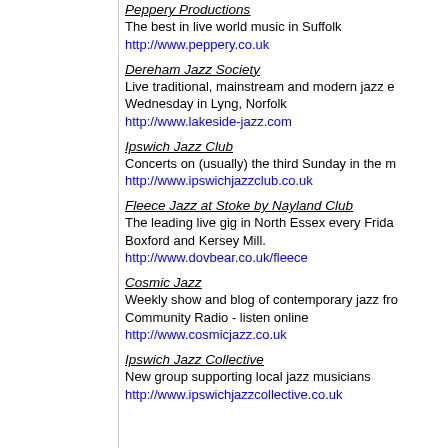Peppery Productions
The best in live world music in Suffolk
http://www.peppery.co.uk
Dereham Jazz Society
Live traditional, mainstream and modern jazz every Wednesday in Lyng, Norfolk
http://www.lakeside-jazz.com
Ipswich Jazz Club
Concerts on (usually) the third Sunday in the month
http://www.ipswichjazzclub.co.uk
Fleece Jazz at Stoke by Nayland Club
The leading live gig in North Essex every Friday at Boxford and Kersey Mill.
http://www.dovbear.co.uk/fleece
Cosmic Jazz
Weekly show and blog of contemporary jazz from Community Radio - listen online
http://www.cosmicjazz.co.uk
Ipswich Jazz Collective
New group supporting local jazz musicians
http://www.ipswichjazzcollective.co.uk